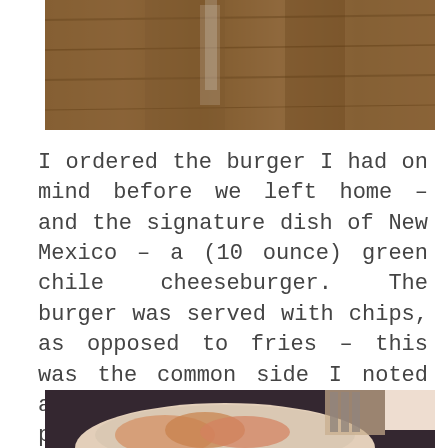[Figure (photo): Top portion of a photo showing a wooden table surface with a white object partially visible]
I ordered the burger I had on mind before we left home – and the signature dish of New Mexico – a (10 ounce) green chile cheeseburger. The burger was served with chips, as opposed to fries – this was the common side I noted at a couple of NM burger places.
[Figure (photo): Bottom portion of a photo showing a white plate with a burger, chips, and a fork and napkin on a dark table]